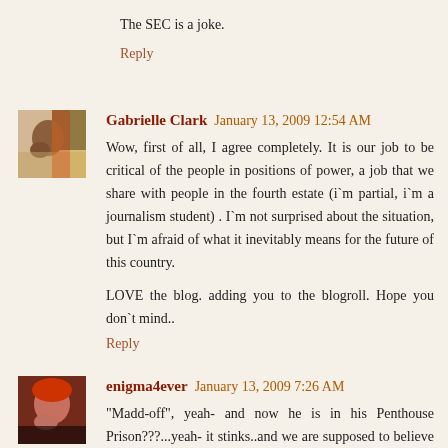The SEC is a joke.
Reply
[Figure (photo): Avatar photo of Gabrielle Clark]
Gabrielle Clark  January 13, 2009 12:54 AM
Wow, first of all, I agree completely. It is our job to be critical of the people in positions of power, a job that we share with people in the fourth estate (i`m partial, i`m a journalism student) . I`m not surprised about the situation, but I`m afraid of what it inevitably means for the future of this country.

LOVE the blog. adding you to the blogroll. Hope you don`t mind..
Reply
[Figure (photo): Avatar photo of enigma4ever]
enigma4ever  January 13, 2009 7:26 AM
"Madd-off", yeah- and now he is in his Penthouse Prison???...yeah- it stinks..and we are supposed to believe that he did it ALL by himself ???really ? ....Not....